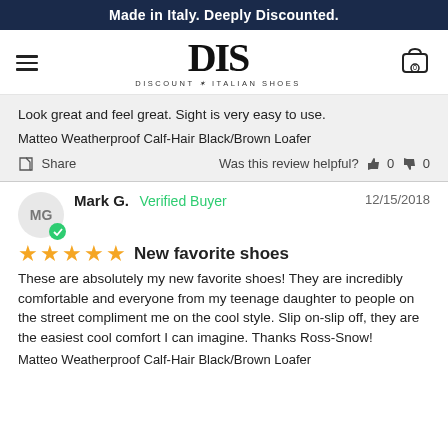Made in Italy. Deeply Discounted.
[Figure (logo): DIS Discount Italian Shoes logo with hamburger menu and cart icon]
Look great and feel great. Sight is very easy to use.
Matteo Weatherproof Calf-Hair Black/Brown Loafer
Share   Was this review helpful?  👍 0  👎 0
Mark G.  Verified Buyer   12/15/2018
New favorite shoes
These are absolutely my new favorite shoes!  They are incredibly comfortable and everyone from my teenage daughter to people on the street compliment me on the cool style.   Slip on-slip off, they are the easiest cool comfort I can imagine.  Thanks Ross-Snow!
Matteo Weatherproof Calf-Hair Black/Brown Loafer